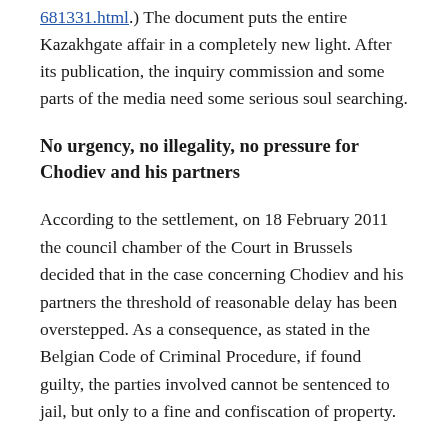681331.html.) The document puts the entire Kazakhgate affair in a completely new light. After its publication, the inquiry commission and some parts of the media need some serious soul searching.
No urgency, no illegality, no pressure for Chodiev and his partners
According to the settlement, on 18 February 2011 the council chamber of the Court in Brussels decided that in the case concerning Chodiev and his partners the threshold of reasonable delay has been overstepped. As a consequence, as stated in the Belgian Code of Criminal Procedure, if found guilty, the parties involved cannot be sentenced to jail, but only to a fine and confiscation of property.
In other words, from 18 February 2011 Chodiev knew